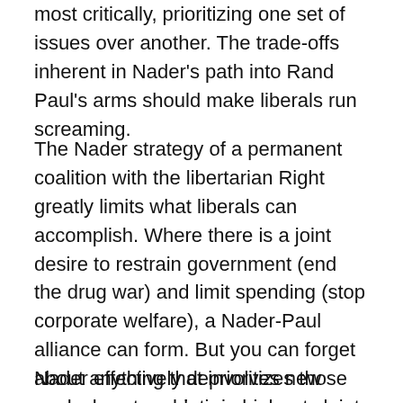most critically, prioritizing one set of issues over another. The trade-offs inherent in Nader's path into Rand Paul's arms should make liberals run screaming.
The Nader strategy of a permanent coalition with the libertarian Right greatly limits what liberals can accomplish. Where there is a joint desire to restrain government (end the drug war) and limit spending (stop corporate welfare), a Nader-Paul alliance can form. But you can forget about anything that involves new government regulation, higher taxes, and more spending. That would preclude big-ticket liberal priorities like capping carbon emissions, expanding anti-poverty programs, guaranteeing universal preschool, and investing in infrastructure.
Nader effectively deprioritizes those goals, because his primary complaint is "Dismantle the Corporate State." But...